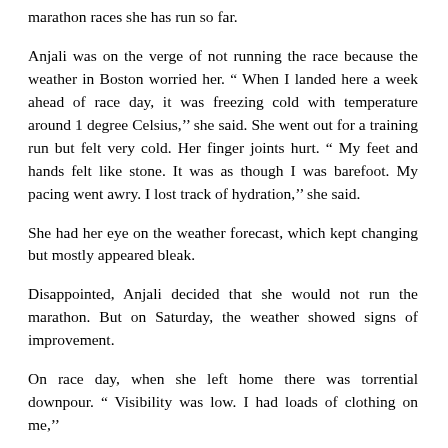marathon races she has run so far.
Anjali was on the verge of not running the race because the weather in Boston worried her. “ When I landed here a week ahead of race day, it was freezing cold with temperature around 1 degree Celsius,’’ she said. She went out for a training run but felt very cold. Her finger joints hurt. “ My feet and hands felt like stone. It was as though I was barefoot. My pacing went awry. I lost track of hydration,’’ she said.
She had her eye on the weather forecast, which kept changing but mostly appeared bleak.
Disappointed, Anjali decided that she would not run the marathon. But on Saturday, the weather showed signs of improvement.
On race day, when she left home there was torrential downpour. “ Visibility was low. I had loads of clothing on me,’’ she said. But she was not going to miss it.